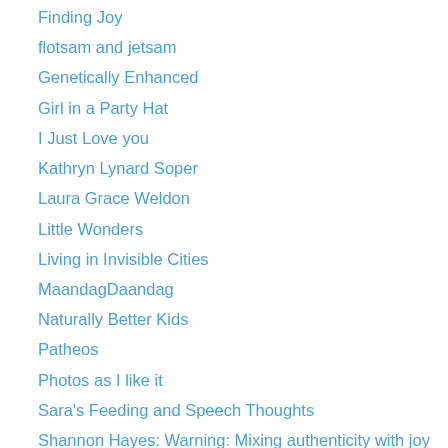Finding Joy
flotsam and jetsam
Genetically Enhanced
Girl in a Party Hat
I Just Love you
Kathryn Lynard Soper
Laura Grace Weldon
Little Wonders
Living in Invisible Cities
MaandagDaandag
Naturally Better Kids
Patheos
Photos as I like it
Sara's Feeding and Speech Thoughts
Shannon Hayes: Warning: Mixing authenticity with joy may arouse contempt
Smitten Kitchen
Soule Mama
Spain Daily
The Adventures of Pudge & Biggs